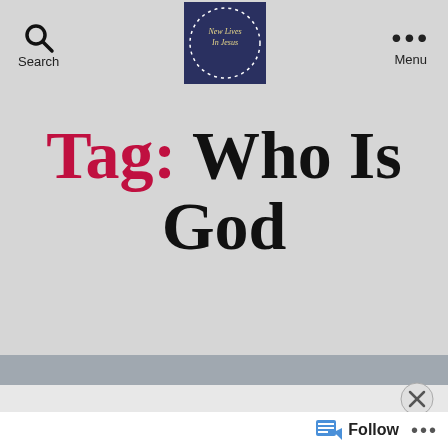[Figure (screenshot): Navigation bar with search icon and label, circular logo with 'New Lives In Jesus' text, and menu (three dots) icon]
Tag: Who Is God
[Figure (screenshot): Bottom advertisement area with 'Advertisements' label, dark banner with circle icon and 'Launch your online' text, close X button, and footer bar with Follow button and three dots]
Follow ...